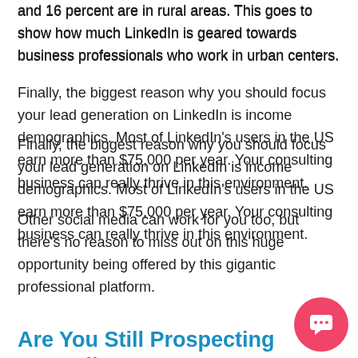and 16 percent are in rural areas. This goes to show how much LinkedIn is geared towards business professionals who work in urban centers.
Finally, the biggest reason why you should focus your lead generation on LinkedIn is income demographics. Most of LinkedIn's users in the US earn more than $75,000 per year. Your consulting business can really thrive in this environment.
Other social media can work for you too, but there's no reason to miss out on this huge opportunity being offered by this gigantic professional platform.
Are You Still Prospecting Manually? SHAME!!!
With LinkedIn automation, there's really no reason to